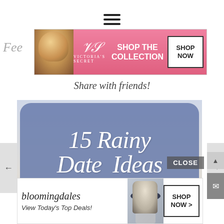[Figure (screenshot): Hamburger menu icon (three horizontal lines) at top center of page]
[Figure (screenshot): Victoria's Secret advertisement banner with model, VS logo, 'SHOP THE COLLECTION', and 'SHOP NOW' button on pink background]
Fee
Share with friends!
[Figure (screenshot): Decorative image with blue rounded rectangle overlay containing white italic script text '15 Rainy Date Ideas' over a photo of a couple with arms raised]
[Figure (screenshot): Bloomingdale's advertisement banner with logo, 'View Today's Top Deals!', model with hat, and 'SHOP NOW >' button]
[Figure (screenshot): CLOSE button overlay in gray]
[Figure (screenshot): Left and right arrow navigation buttons]
[Figure (screenshot): Scroll up and email icon buttons on right side]